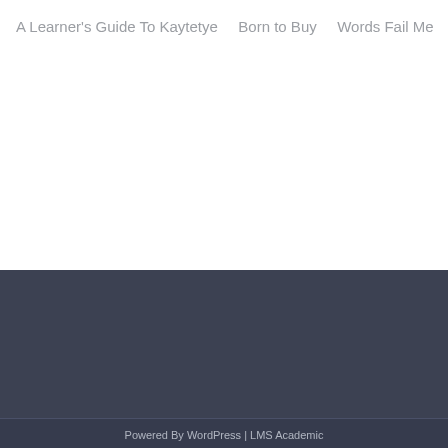A Learner's Guide To Kaytetye
Born to Buy
Words Fail Me
Powered By WordPress | LMS Academic